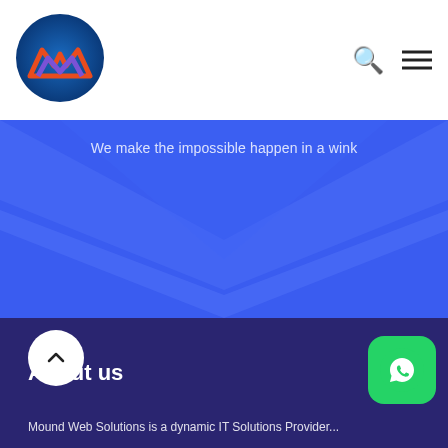[Figure (logo): Circular logo with blue gradient background, orange mountain/M shape and purple/blue W shape in the center]
We make the impossible happen in a wink
[Figure (illustration): Blue background with lighter blue chevron/diamond decorative shape forming a V or envelope pattern]
About us
Mound Web Solutions is a dynamic IT Solutions Provider...